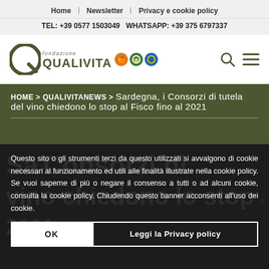Home | Newsletter | Privacy e cookie policy
TEL: +39 0577 1503049 WHATSAPP: +39 375 6797337
[Figure (logo): Fondazione Qualivita logo with green Q letter, 'fondazione' text, 'QUALIVITA' in bold green, and three certification badge icons (orange, green, blue)]
HOME > QUALIVITANEWS > Sardegna, i Consorzi di tutela del vino chiedono lo stop al Fisco fino al 2021
Questo sito o gli strumenti terzi da questo utilizzati si avvalgono di cookie necessari al funzionamento ed utili alle finalità illustrate nella cookie policy. Se vuoi saperne di più o negare il consenso a tutti o ad alcuni cookie, consulta la cookie policy. Chiudendo questo banner acconsenti all'uso dei cookie.
OK
Leggi la Privacy policy